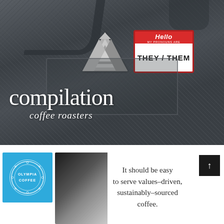[Figure (photo): Close-up photo of a dark denim jacket with two pins: a white Penrose triangle geometric pin and a red 'Hello my pronouns are THEY/THEM' name badge pin. Text overlay reads 'compilation coffee roasters' in white serif font.]
compilation coffee roasters
[Figure (photo): Bottom section showing Olympia Coffee logo on blue background on left, dark abstract photo in center, and text 'It should be easy to serve values-driven, sustainably-sourced coffee.' on right with a black arrow-up button.]
It should be easy to serve values-driven, sustainably-sourced coffee.